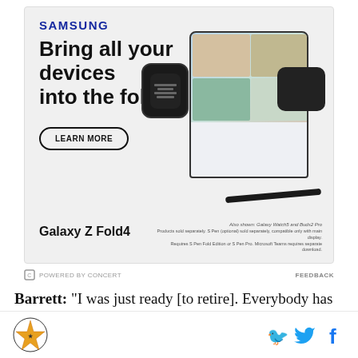[Figure (photo): Samsung Galaxy Z Fold4 advertisement showing 'Bring all your devices into the fold' headline with Samsung logo, LEARN MORE button, and product images of Galaxy Z Fold4, Galaxy Watch5, and Buds2 Pro]
POWERED BY CONCERT   FEEDBACK
Barrett: "I was just ready [to retire]. Everybody has to
Site logo, Twitter and Facebook social icons